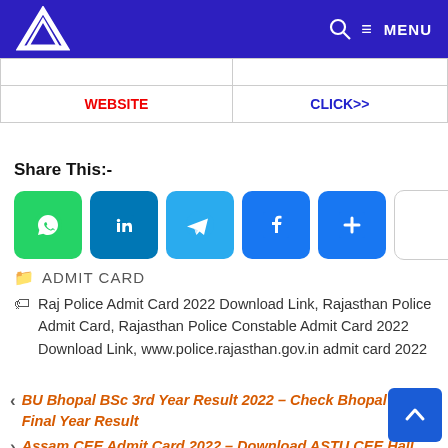A [logo] | Search | ☰ MENU
| WEBSITE | CLICK>> |
| --- | --- |
| WEBSITE | CLICK>> |
Share This:-
[Figure (infographic): Social share buttons: WhatsApp, LinkedIn, Telegram, Facebook, More (+), and a blank button]
ADMIT CARD
Raj Police Admit Card 2022 Download Link, Rajasthan Police Admit Card, Rajasthan Police Constable Admit Card 2022 Download Link, www.police.rajasthan.gov.in admit card 2022
BU Bhopal BSc 3rd Year Result 2022 – Check Bhopal B.Sc Final Year Result
Assam CEE Admit Card 2022 – Download ASTU CEE Hall Ticket